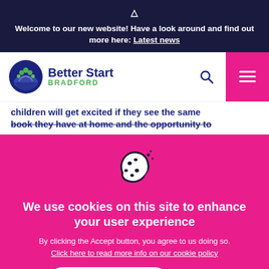⚠ Welcome to our new website! Have a look around and find out more here: Latest news
[Figure (logo): Better Start Bradford logo — stylized circle with people figures above a hand, green and blue colors, with text 'Better Start BRADFORD']
children will get excited if they see the same book they have at home and the opportunity to
[Figure (illustration): Cookie icon — white cookie with chocolate chip dots and small sparkles, dark outline, on a pink background]
We use cookies on this site to enhance your user experience
By clicking the Accept button, you agree to us doing so. Click here to read more info on our cookie policy
Accept cookies    No thanks